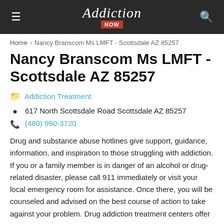Addiction Now
Home › Nancy Branscom Ms LMFT - Scottsdale AZ 85257
Nancy Branscom Ms LMFT - Scottsdale AZ 85257
Addiction Treatment
617 North Scottsdale Road Scottsdale AZ 85257
(480) 990-3720
Drug and substance abuse hotlines give support, guidance, information, and inspiration to those struggling with addiction. If you or a family member is in danger of an alcohol or drug-related disaster, please call 911 immediately or visit your local emergency room for assistance. Once there, you will be counseled and advised on the best course of action to take against your problem. Drug addiction treatment centers offer